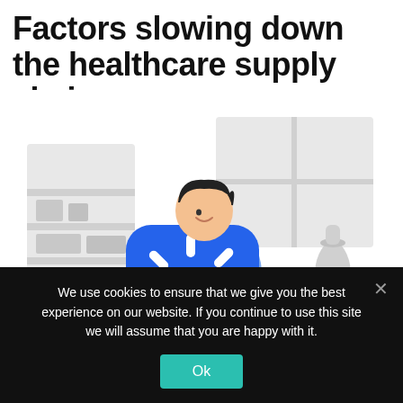Factors slowing down the healthcare supply chain.
[Figure (illustration): Illustration of a person holding a large blue loading/processing icon (rounded square with white dash marks radiating from center), standing in a room with shelves, a window, and a vase on a table. The background elements are light grey.]
We use cookies to ensure that we give you the best experience on our website. If you continue to use this site we will assume that you are happy with it.